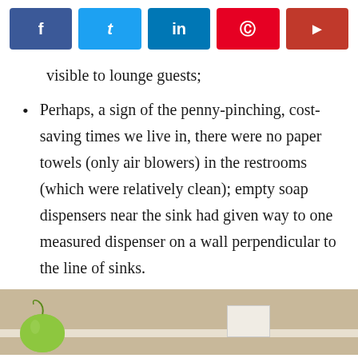[Figure (screenshot): Social media share buttons: Facebook, Twitter, LinkedIn, Pinterest, Flipboard]
visible to lounge guests;
Perhaps, a sign of the penny-pinching, cost-saving times we live in, there were no paper towels (only air blowers) in the restrooms (which were relatively clean); empty soap dispensers near the sink had given way to one measured dispenser on a wall perpendicular to the line of sinks.
[Figure (photo): Photo showing a green apple and white rectangular containers on a shelf or counter, with a person's hand partially visible.]